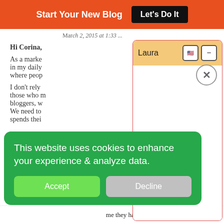Start Your New Blog  Let's Do It
March 2, 2015 at 1:33 ...
Hi Corina,

As a marke... in my daily... where peop...

I don't rely... those who m... bloggers, w... We need to... spends thei...
[Figure (screenshot): Chat popup window with header 'Laura', flag icon button, minimize button, close X button, and empty white chat body area]
[Figure (infographic): Green cookie consent banner with text 'This website uses cookies to enhance your experience & analyze data.' and two buttons: Accept (green) and Decline (grey)]
Powered By Steady Stream Leads